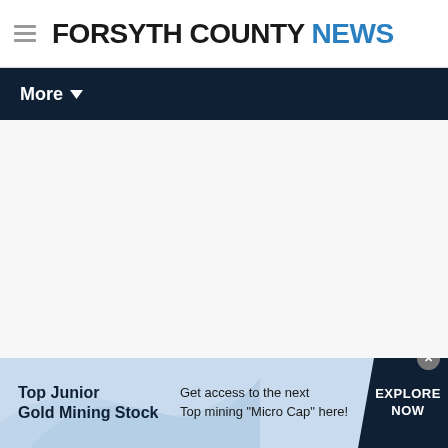FORSYTH COUNTY NEWS
More
[Figure (infographic): Advertisement banner for Top Junior Gold Mining Stock with light blue background and dark navy call-to-action button. Text: 'Top Junior Gold Mining Stock' / 'Get access to the next Top mining "Micro Cap" here!' / 'EXPLORE NOW']